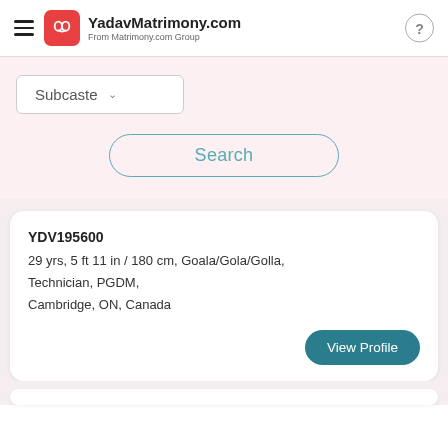YadavMatrimony.com — From Matrimony.com Group
Subcaste
Search
YDV195600
29 yrs, 5 ft 11 in / 180 cm, Goala/Gola/Golla, Technician, PGDM, Cambridge, ON, Canada
View Profile